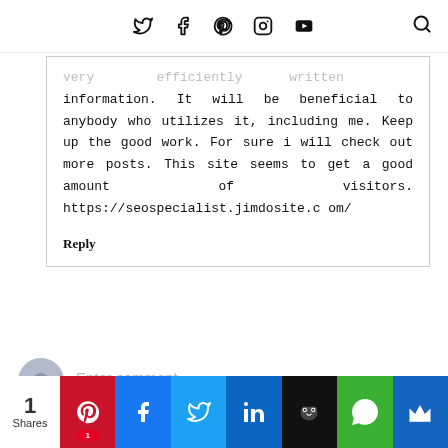Twitter Facebook Pinterest Instagram YouTube [Search]
very efficiently written information. It will be beneficial to anybody who utilizes it, including me. Keep up the good work. For sure i will check out more posts. This site seems to get a good amount of visitors. https://seospecialist.jimdosite.com/
Reply
Enter comment
1 Shares